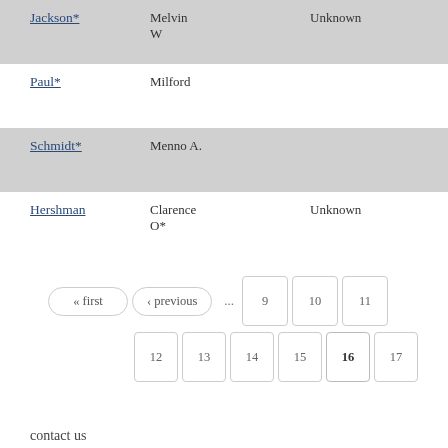| Last Name | First Name | Status |
| --- | --- | --- |
| Jackson* | Melvin W | Unknown |
| Paul* | Milford |  |
| Schmidt* | Menno A. |  |
| Hershman | Clarence O* | Unknown |
« first  ‹ previous  ...  9  10  11  12  13  14  15  16  17
contact us
cps@mcc.org